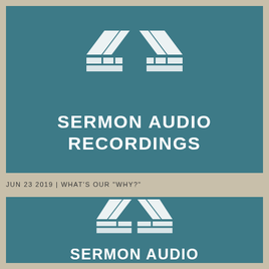[Figure (logo): SermonAudio logo with geometric diamond/chevron pattern in white on teal background, with text SERMON AUDIO RECORDINGS]
JUN 23 2019 | WHAT'S OUR "WHY?"
[Figure (logo): SermonAudio logo with geometric diamond/chevron pattern in white on teal background, with text SERMON AUDIO]